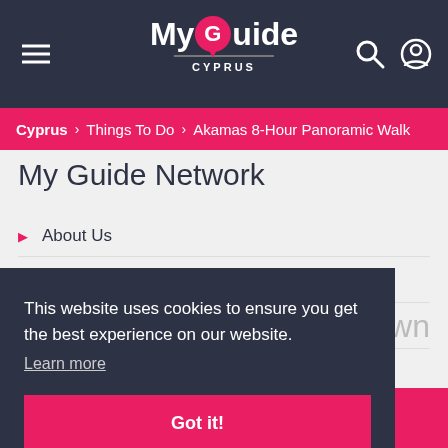My Guide CYPRUS
Cyprus > Things To Do > Akamas 8-Hour Panoramic Walk
My Guide Network
About Us
All Destinations
Press Information & Resources
This website uses cookies to ensure you get the best experience on our website.
Learn more
Got it!